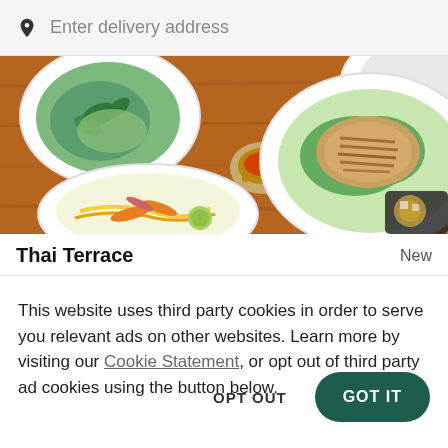Enter delivery address
[Figure (photo): Overhead view of Thai food dishes on a wooden table: green curry soup with basil, a small bowl of red chili sauce, a large plate with grilled chicken over greens, a plate with colorful salad, and a glass with ice.]
Thai Terrace   New
This website uses third party cookies in order to serve you relevant ads on other websites. Learn more by visiting our Cookie Statement, or opt out of third party ad cookies using the button below.
OPT OUT
GOT IT